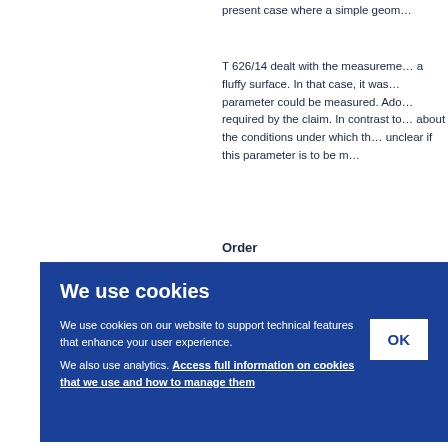present case where a simple geom…
T 626/14 dealt with the measureme… a fluffy surface. In that case, it was… parameter could be measured. Ado… required by the claim. In contrast to… about the conditions under which th… unclear if this parameter is to be m…
Order
d tha… set as… positi… est 3 f… eto.
[Figure (screenshot): Cookie consent overlay on a blue background reading 'We use cookies' with body text 'We use cookies on our website to support technical features that enhance your user experience. We also use analytics. Access full information on cookies that we use and how to manage them' and an OK button.]